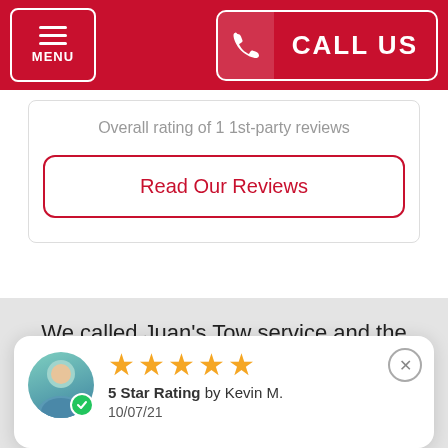MENU | CALL US
Overall rating of 1 1st-party reviews
Read Our Reviews
We called Juan's Tow service and the response time was absolutely amazing! The driver was courteous! He was knowledgeable and helpful! Thank you for the quick response and the
5 Star Rating by Kevin M.
10/07/21